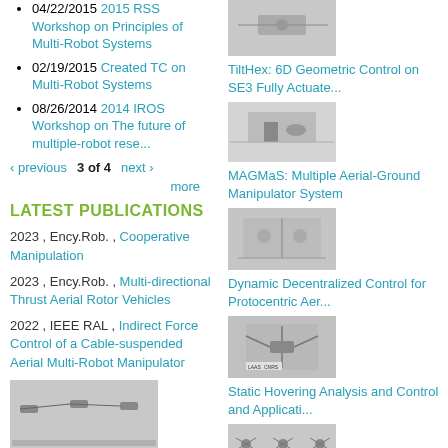04/22/2015 2015 RSS Workshop on Principles of Multi-Robot Systems
02/19/2015 Created TC on Multi-Robot Systems
08/26/2014 2014 IROS Workshop on The future of multiple-robot rese...
‹ previous   3 of 4   next ›
more
LATEST PUBLICATIONS
2023 , Ency.Rob. , Cooperative Manipulation
2023 , Ency.Rob. , Multi-directional Thrust Aerial Rotor Vehicles
2022 , IEEE RAL , Indirect Force Control of a Cable-suspended Aerial Multi-Robot Manipulator
[Figure (photo): Photo of aerial robots on white background]
[Figure (photo): Photo of aerial robot with arm/cable system]
TiltHex: 6D Geometric Control on SE3 Fully Actuate...
[Figure (photo): Photo of aerial robot experiment]
MAGMaS: Multiple Aerial-Ground Manipulator System
[Figure (photo): Photo of aerial robot with robotic arm]
Dynamic Decentralized Control for Protocentric Aer...
[Figure (photo): Photo of quadrotor with LAAS-CNRS label]
Static Hovering Analysis and Control and Applicati...
[Figure (photo): Photo of multiple aerial robot configurations]
6D Physical Interaction with a Fully Actuated Aeri...
[Figure (photo): Photo of aerial robot with extended arms]